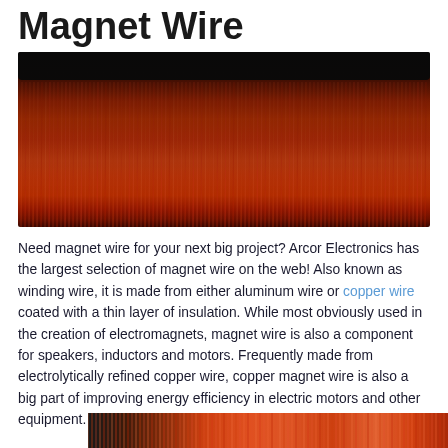Magnet Wire
[Figure (photo): Close-up photo of magnet wire coil showing dense red/copper colored enameled wire strands wound tightly, with dark frame/core visible at top]
Need magnet wire for your next big project? Arcor Electronics has the largest selection of magnet wire on the web! Also known as winding wire, it is made from either aluminum wire or copper wire coated with a thin layer of insulation. While most obviously used in the creation of electromagnets, magnet wire is also a component for speakers, inductors and motors. Frequently made from electrolytically refined copper wire, copper magnet wire is also a big part of improving energy efficiency in electric motors and other equipment.
[Figure (photo): Partial photo of magnet wire coil visible at bottom of page, showing red enameled wire strands with dark background on left]